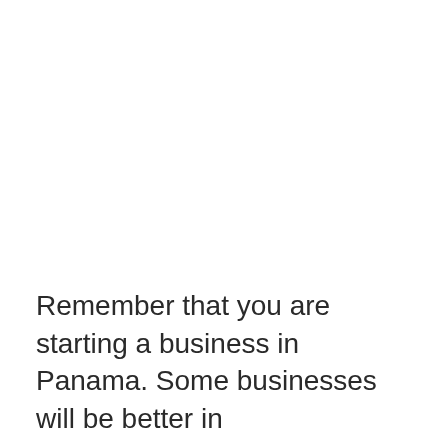Remember that you are starting a business in Panama. Some businesses will be better in